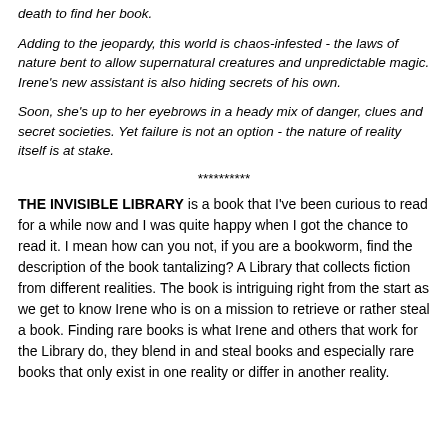death to find her book.
Adding to the jeopardy, this world is chaos-infested - the laws of nature bent to allow supernatural creatures and unpredictable magic. Irene's new assistant is also hiding secrets of his own.
Soon, she's up to her eyebrows in a heady mix of danger, clues and secret societies. Yet failure is not an option - the nature of reality itself is at stake.
**********
THE INVISIBLE LIBRARY is a book that I've been curious to read for a while now and I was quite happy when I got the chance to read it. I mean how can you not, if you are a bookworm, find the description of the book tantalizing? A Library that collects fiction from different realities. The book is intriguing right from the start as we get to know Irene who is on a mission to retrieve or rather steal a book. Finding rare books is what Irene and others that work for the Library do, they blend in and steal books and especially rare books that only exist in one reality or differ in another reality.